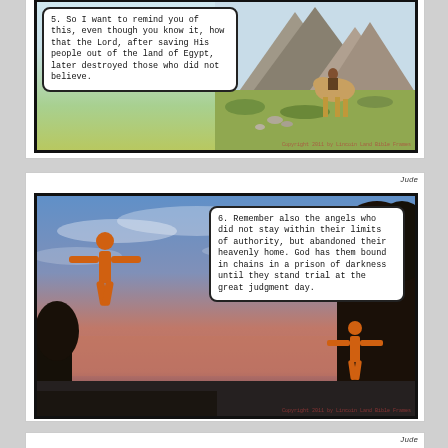[Figure (illustration): Comic panel showing desert/mountain scene with speech bubble. Text: '5. So I want to remind you of this, even though you know it, how that the Lord, after saving His people out of the land of Egypt, later destroyed those who did not believe.']
[Figure (illustration): Comic panel with sunset sky, orange human silhouette figures with arms outstretched, tree silhouette. Label 'Jude'. Speech bubble text: '6. Remember also the angels who did not stay within their limits of authority, but abandoned their heavenly home. God has them bound in chains in a prison of darkness until they stand trial at the great judgment day.']
[Figure (illustration): Comic panel with fire background. Label 'Jude'. Speech bubble text: '7. Think about Sodom and Gomorrah, and the nearby cities. They were having sex outside of marriage, and men were having sex' (partially visible)]